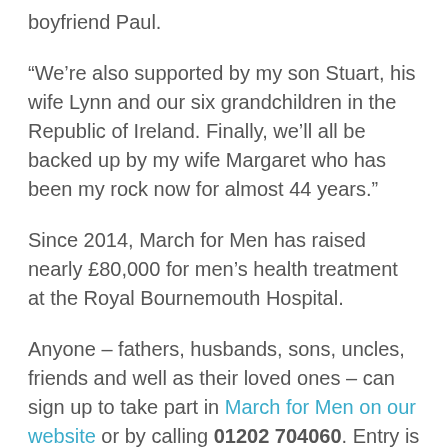boyfriend Paul.
“We’re also supported by my son Stuart, his wife Lynn and our six grandchildren in the Republic of Ireland. Finally, we’ll all be backed up by my wife Margaret who has been my rock now for almost 44 years.”
Since 2014, March for Men has raised nearly £80,000 for men’s health treatment at the Royal Bournemouth Hospital.
Anyone – fathers, husbands, sons, uncles, friends and well as their loved ones – can sign up to take part in March for Men on our website or by calling 01202 704060. Entry is £15 for adults (over-16s), £8 for